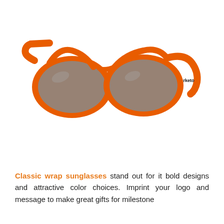[Figure (photo): Orange classic wrap sunglasses with dark gray lenses. The sunglasses have a bold orange frame and the text 'eMarketo' printed on the right temple arm. Product photo on white background.]
Classic wrap sunglasses stand out for it bold designs and attractive color choices. Imprint your logo and message to make great gifts for milestone